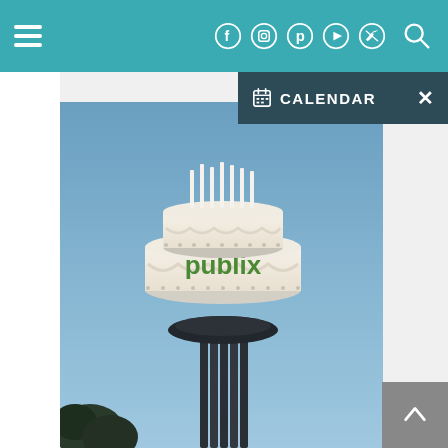Navigation bar with hamburger menu, social media icons (Facebook, Instagram, Pinterest, YouTube, Twitter), and search icon on teal background
[Figure (screenshot): Calendar dropdown overlay with dark navy background showing CALENDAR label and X close button]
[Figure (photo): Water tower decorated as a giant birthday cake with candles on top and Publix logo in green text, against a blue sky background with dark trees at the bottom left]